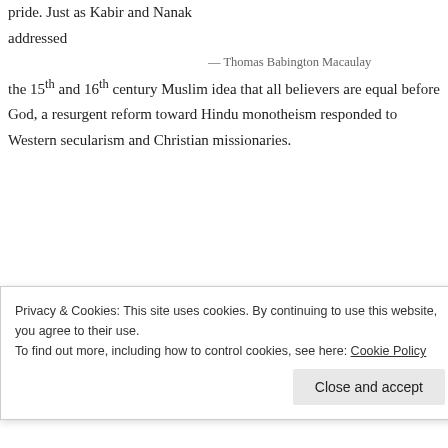pride. Just as Kabir and Nanak addressed the 15th and 16th century Muslim idea that all believers are equal before God, a resurgent reform toward Hindu monotheism responded to Western secularism and Christian missionaries.
— Thomas Babington Macaulay
British rule gave Indians an unprecedented opportunity that many Muslims were slow to accept, resentful of the Moghul decline and suspicious of religious corruption. Edwin Arnolds translation of the Gita and Sanskrit scholar Max Muller glowing...
Privacy & Cookies: This site uses cookies. By continuing to use this website, you agree to their use.
To find out more, including how to control cookies, see here: Cookie Policy
Close and accept